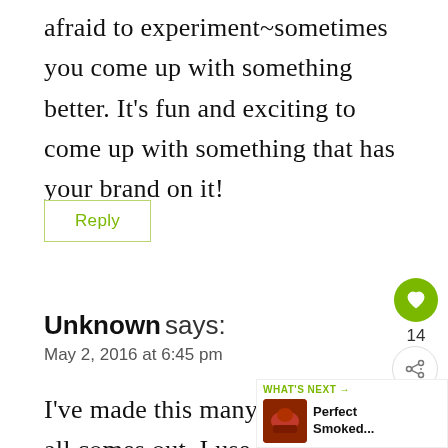afraid to experiment~sometimes you come up with something better. It's fun and exciting to come up with something that has your brand on it!
Reply
Unknown says:
May 2, 2016 at 6:45 pm
I've made this many times and it all comes out. I use frozen wings, and